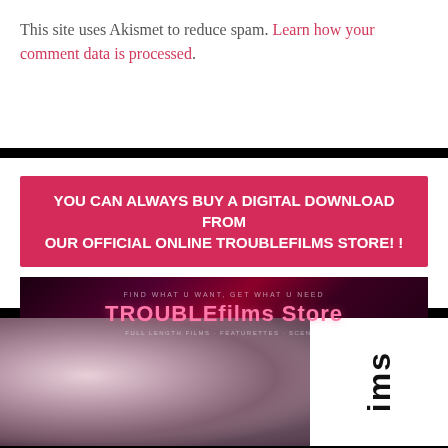This site uses Akismet to reduce spam. Learn how your comment data is processed.
YOU CAN ALWAYS BUY A DIGITAL DOWNLOAD FROM OUR OFFICIAL ONLINE TROUBLEFILMS STORE! !
[Figure (illustration): TROUBLEfilms Store banner with dark red/pink background, tagline 'FIND WHAT U WANT, GET WHAT U NEED', store title 'TROUBLEfilms Store', subtitle text, and URL troublefilms.com/shop]
[Figure (photo): Two young women with dark hair shown from nose up, close portrait shot, with partial text 'ims' visible on right side]